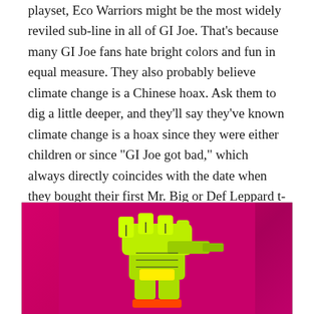playset, Eco Warriors might be the most widely reviled sub-line in all of GI Joe. That’s because many GI Joe fans hate bright colors and fun in equal measure. They also probably believe climate change is a Chinese hoax. Ask them to dig a little deeper, and they’ll say they’ve known climate change is a hoax since they were either children or since “GI Joe got bad,” which always directly coincides with the date when they bought their first Mr. Big or Def Leppard t-shirt.
[Figure (photo): Photo of a bright neon yellow-green GI Joe Eco Warriors toy figure or weapon accessory against a vibrant hot pink/magenta background. The toy appears to be a neon green robotic or armored fist/claw holding some kind of weapon, with yellow-green coloring throughout.]